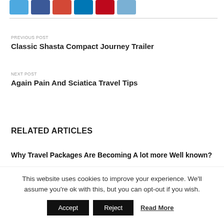[Figure (other): Row of social media sharing icons: Twitter (blue), Facebook (dark blue), Google+ (red), LinkedIn (blue), Pinterest (dark red), Email (light blue)]
PREVIOUS POST
Classic Shasta Compact Journey Trailer
NEXT POST
Again Pain And Sciatica Travel Tips
RELATED ARTICLES
Why Travel Packages Are Becoming A lot more Well known?
This website uses cookies to improve your experience. We'll assume you're ok with this, but you can opt-out if you wish.
Accept   Reject   Read More